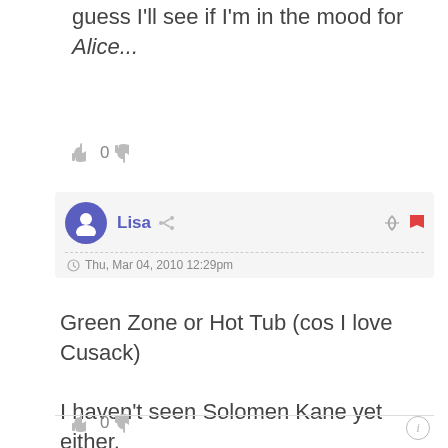guess I'll see if I'm in the mood for Alice...
👍 0 👎
Lisa  Thu, Mar 04, 2010 12:29pm
Green Zone or Hot Tub (cos I love Cusack)

I haven't seen Solomen Kane yet either.
👍 0 👎